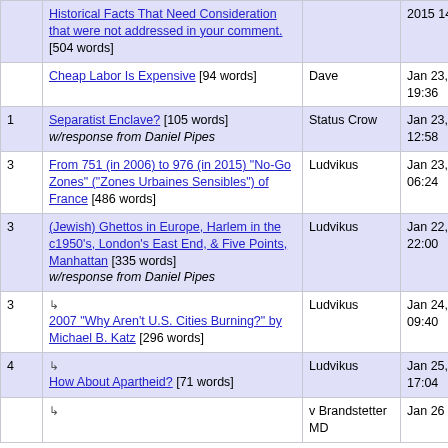|  | Title | Author | Date |
| --- | --- | --- | --- |
|  | Historical Facts That Need Consideration that were not addressed in your comment. [504 words] |  | 2015 14:33 |
|  | Cheap Labor Is Expensive [94 words] | Dave | Jan 23, 2015 19:36 |
| 1 | Separatist Enclave? [105 words] w/response from Daniel Pipes | Status Crow | Jan 23, 2015 12:58 |
| 3 | From 751 (in 2006) to 976 (in 2015) "No-Go Zones" ("Zones Urbaines Sensibles") of France [486 words] | Ludvikus | Jan 23, 2015 06:24 |
| 3 | (Jewish) Ghettos in Europe, Harlem in the c1950's, London's East End, & Five Points, Manhattan [335 words] w/response from Daniel Pipes | Ludvikus | Jan 22, 2015 22:00 |
| 3 | ↳ 2007 "Why Aren't U.S. Cities Burning?" by Michael B. Katz [296 words] | Ludvikus | Jan 24, 2015 09:40 |
| 4 | ↳ How About Apartheid? [71 words] | Ludvikus | Jan 25, 2015 17:04 |
|  | ↳ | v Brandstetter MD | Jan 26 |